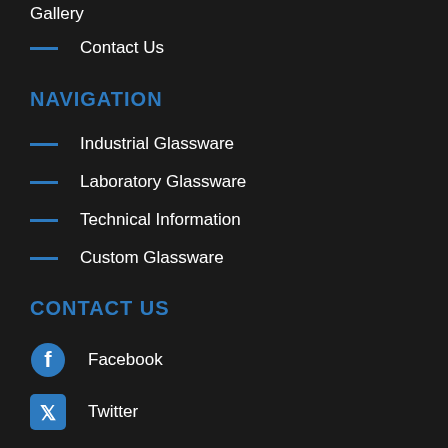Gallery
Contact Us
NAVIGATION
Industrial Glassware
Laboratory Glassware
Technical Information
Custom Glassware
CONTACT US
Facebook
Twitter